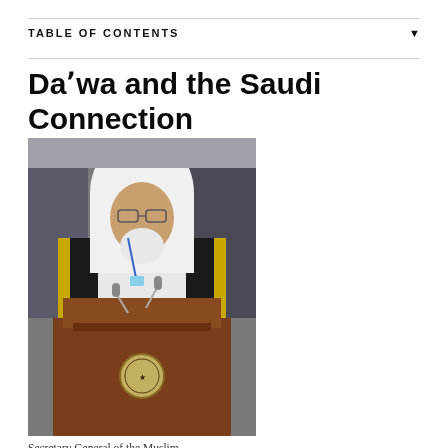TABLE OF CONTENTS
Daʼwa and the Saudi Connection
[Figure (photo): An elderly man wearing white head covering and black and gold robe standing at a wooden podium with a seal emblem, speaking at a formal event with microphones in front of him. Other figures are visible in the background.]
Secretary General of the Muslim